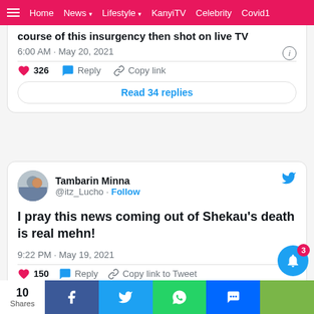Home  News  Lifestyle  KanyiTV  Celebrity  Covid1
course of this insurgency then shot on live TV
6:00 AM · May 20, 2021
326  Reply  Copy link
Read 34 replies
Tambarin Minna @itz_Lucho · Follow
I pray this news coming out of Shekau's death is real mehn!
9:22 PM · May 19, 2021
150  Reply  Copy link to Tweet
Read 14 replies
10 Shares